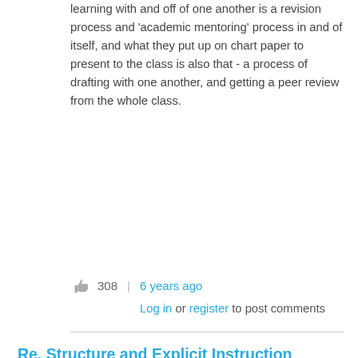learning with and off of one another is a revision process and 'academic mentoring' process in and of itself, and what they put up on chart paper to present to the class is also that - a process of drafting with one another, and getting a peer review from the whole class.
308 | 6 years ago
Log in or register to post comments
Re. Structure and Explicit Instruction
noshukany
Danica: I like your clear, practical explanation of the importance of peer editing, and I'm going to paraphrase you on these points this semester. I'm not sure I've ever fully explained the importance of the process beyond its effects on the product at